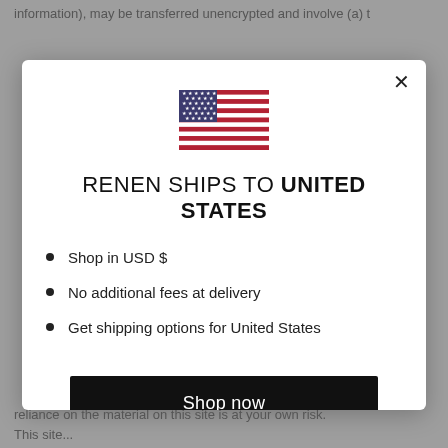information), may be transferred unencrypted and involve (a) t...
[Figure (illustration): US flag SVG illustration]
RENEN SHIPS TO UNITED STATES
Shop in USD $
No additional fees at delivery
Get shipping options for United States
Shop now
Change shipping country
reliance on the material on this site is at your own risk. This site...